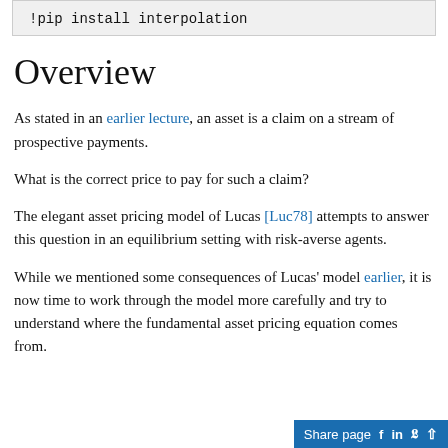!pip install interpolation
Overview
As stated in an earlier lecture, an asset is a claim on a stream of prospective payments.
What is the correct price to pay for such a claim?
The elegant asset pricing model of Lucas [Luc78] attempts to answer this question in an equilibrium setting with risk-averse agents.
While we mentioned some consequences of Lucas' model earlier, it is now time to work through the model more carefully and try to understand where the fundamental asset pricing equation comes from.
Share page f in Twitter ^